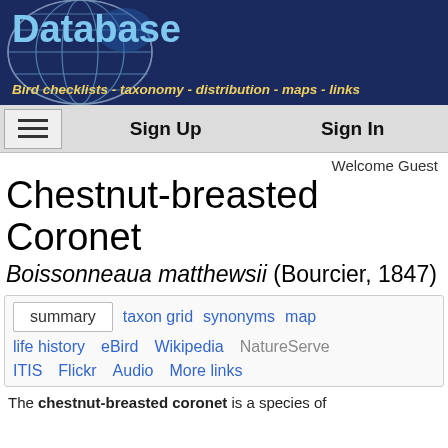[Figure (screenshot): World Bird Database website header with dark navy background, globe graphic, 'Database' text in light blue, and subtitle 'Bird checklists - taxonomy - distribution - maps - links' in yellow italic]
Sign Up   Sign In
Welcome Guest
Chestnut-breasted Coronet
Boissonneaua matthewsii (Bourcier, 1847)
summary
taxon grid
synonyms
map
life history
eBird
Wikipedia
NatureServe
ITIS
Flickr
Audio
More links
The chestnut-breasted coronet is a species of